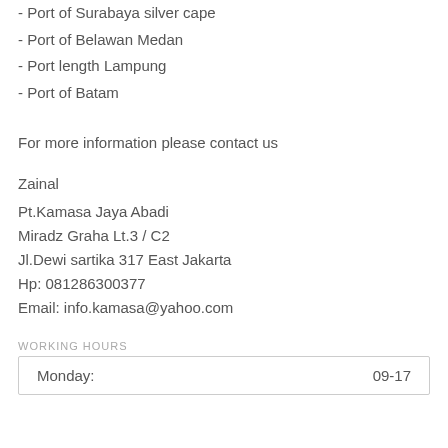- Port of Surabaya silver cape
- Port of Belawan Medan
- Port length Lampung
- Port of Batam
For more information please contact us
Zainal
Pt.Kamasa Jaya Abadi
Miradz Graha Lt.3 / C2
Jl.Dewi sartika 317 East Jakarta
Hp: 081286300377
Email: info.kamasa@yahoo.com
WORKING HOURS
| Day | Hours |
| --- | --- |
| Monday: | 09-17 |